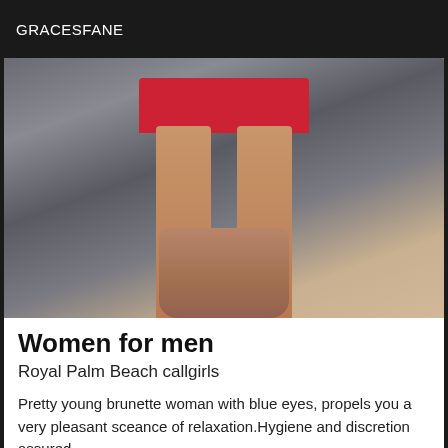GRACESFANE
[Figure (photo): Photo of a person's legs in a red mini skirt standing in a large terracotta pot outdoors on a paved area with stone/brick background]
Women for men
Royal Palm Beach callgirls
Pretty young brunette woman with blue eyes, propels you a very pleasant sceance of relaxation.Hygiene and discretion assured.